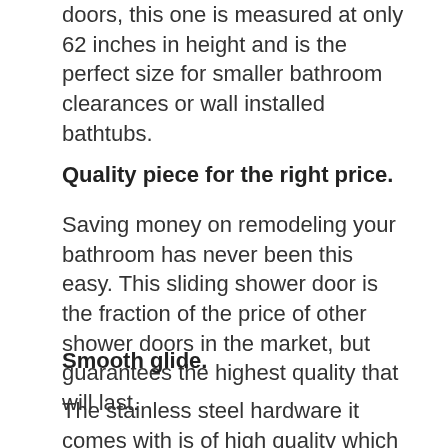doors, this one is measured at only 62 inches in height and is the perfect size for smaller bathroom clearances or wall installed bathtubs.
Quality piece for the right price.
Saving money on remodeling your bathroom has never been this easy. This sliding shower door is the fraction of the price of other shower doors in the market, but guarantees the highest quality that will last.
Smooth glide.
The stainless steel hardware it comes with is of high quality which promises never to